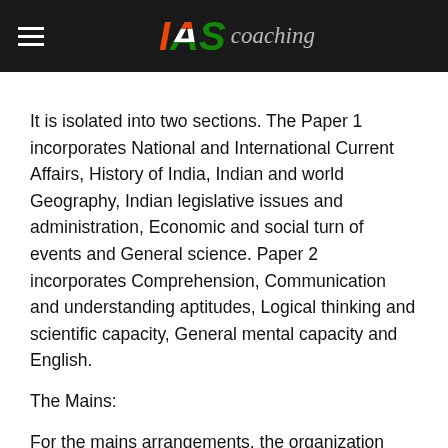IAS coaching
It is isolated into two sections. The Paper 1 incorporates National and International Current Affairs, History of India, Indian and world Geography, Indian legislative issues and administration, Economic and social turn of events and General science. Paper 2 incorporates Comprehension, Communication and understanding aptitudes, Logical thinking and scientific capacity, General mental capacity and English.
The Mains:
For the mains arrangements, the organization centers around Indian legacy and culture, history and geology of the world and society, administration, constitution, governmental issues, social equity, worldwide relations,